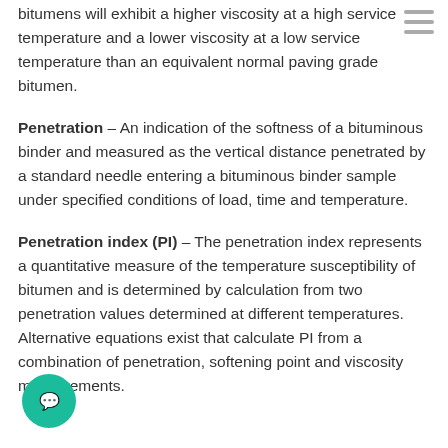bitumens will exhibit a higher viscosity at a high service temperature and a lower viscosity at a low service temperature than an equivalent normal paving grade bitumen.
Penetration – An indication of the softness of a bituminous binder and measured as the vertical distance penetrated by a standard needle entering a bituminous binder sample under specified conditions of load, time and temperature.
Penetration index (PI) – The penetration index represents a quantitative measure of the temperature susceptibility of bitumen and is determined by calculation from two penetration values determined at different temperatures. Alternative equations exist that calculate PI from a combination of penetration, softening point and viscosity measurements.